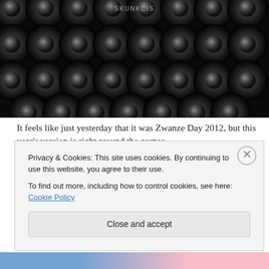[Figure (photo): Close-up photo of dark glass beer bottles arranged in rows, showing bottle bottoms/caps from above, very dark background with metallic reflections. Text 'SKUNKCIS' partially visible at top.]
It feels like just yesterday that it was Zwanze Day 2012, but this year's version is right around the corner.
Cantillon Zwanze Day 2013 will be held on Saturday, September 14, according to a post on the Belgian brewery's Facebook page, though no additional details on the actual Zwanze brew or the locations have been
Privacy & Cookies: This site uses cookies. By continuing to use this website, you agree to their use.
To find out more, including how to control cookies, see here: Cookie Policy
Close and accept